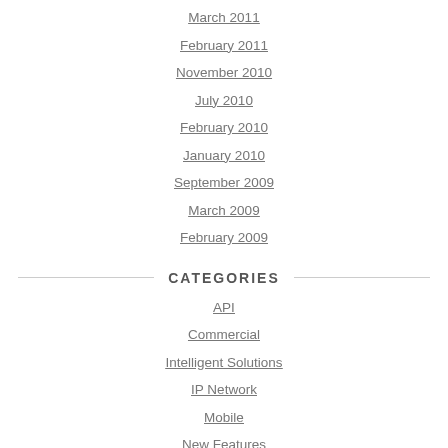March 2011
February 2011
November 2010
July 2010
February 2010
January 2010
September 2009
March 2009
February 2009
CATEGORIES
API
Commercial
Intelligent Solutions
IP Network
Mobile
New Features
Partner